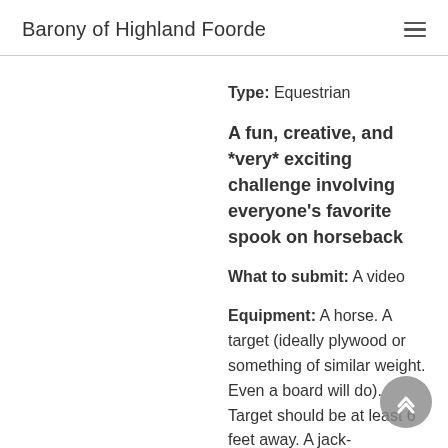Barony of Highland Foorde
Type: Equestrian
A fun, creative, and *very* exciting challenge involving everyone's favorite spook on horseback
What to submit: A video
Equipment: A horse. A target (ideally plywood or something of similar weight. Even a board will do). Target should be at least 6 feet away. A jack-